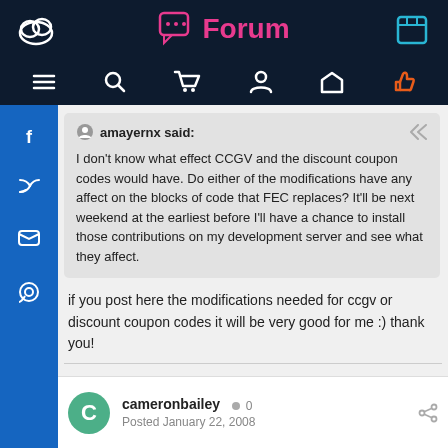Forum
amayernx said: I don't know what effect CCGV and the discount coupon codes would have. Do either of the modifications have any affect on the blocks of code that FEC replaces? It'll be next weekend at the earliest before I'll have a chance to install those contributions on my development server and see what they affect.
if you post here the modifications needed for ccgv or discount coupon codes it will be very good for me :) thank you!
cameronbailey  0
Posted January 22, 2008